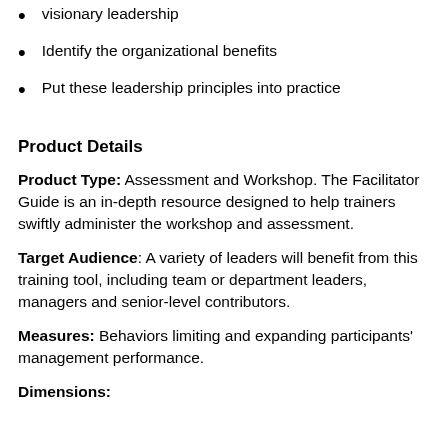visionary leadership
Identify the organizational benefits
Put these leadership principles into practice
Product Details
Product Type: Assessment and Workshop. The Facilitator Guide is an in-depth resource designed to help trainers swiftly administer the workshop and assessment.
Target Audience: A variety of leaders will benefit from this training tool, including team or department leaders, managers and senior-level contributors.
Measures: Behaviors limiting and expanding participants' management performance.
Dimensions: